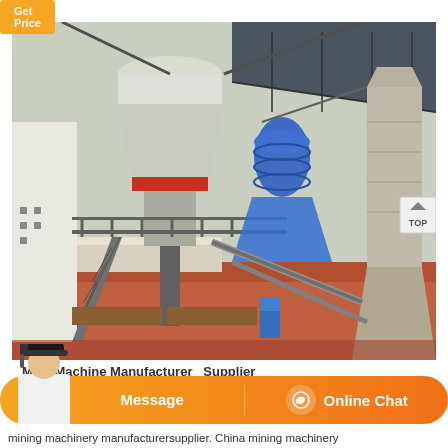[Figure (screenshot): Get Price button (orange/yellow background) in top-left corner]
[Figure (photo): Industrial mining plant facility with large cone crusher on elevated platform, blue corrugated pipes/ducts, steel framework, staircases, red soil ground, taken outdoors under overcast sky]
M... Machine Manufacturer Supplier...
[Figure (screenshot): Website chat overlay bar with orange gradient background, Message button on left and Online Chat button with headset icon on right. Customer service representative avatar on left side.]
mining machinery manufacturersupplier. China mining machinery